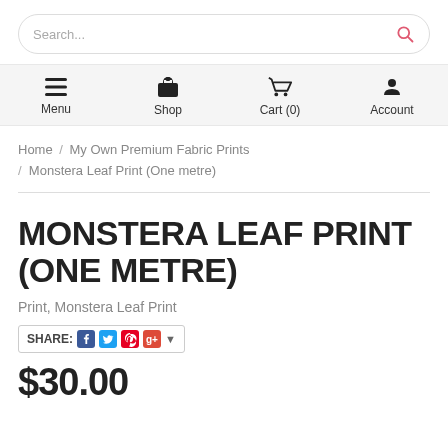Search...
Menu / Shop / Cart (0) / Account
Home / My Own Premium Fabric Prints / Monstera Leaf Print (One metre)
MONSTERA LEAF PRINT (ONE METRE)
Print, Monstera Leaf Print
SHARE:
$30.00